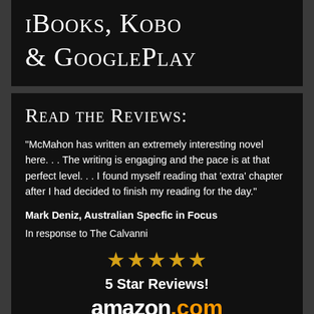iBooks, Kobo & GooglePlay
Read the Reviews:
"McMahon has written an extremely interesting novel here. . . The writing is engaging and the pace is at that perfect level. . . I found myself reading that 'extra' chapter after I had decided to finish my reading for the day."
Mark Deniz, Australian Specfic in Focus
In response to The Calvanni
[Figure (other): Five gold stars rating]
5 Star Reviews!
amazon.com